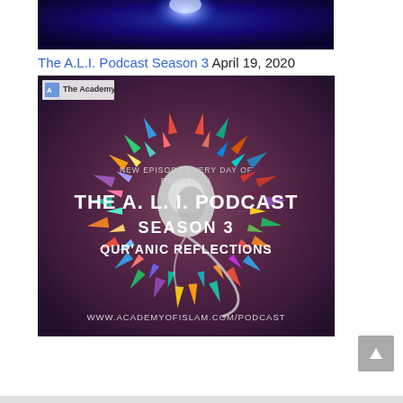[Figure (photo): Top banner image with dark blue/purple background and glowing light orb or globe at the top center]
The A.L.I. Podcast Season 3 April 19, 2020
[Figure (photo): Podcast promotional image for 'The A.L.I. Podcast Season 3 - Qur'anic Reflections' showing earbuds surrounded by a colorful circle of multi-colored arrow/lightning shapes on a dark purple background, with text: NEW EPISODE EVERY DAY OF RAMADAN, THE A. L. I. PODCAST, SEASON 3, QUR'ANIC REFLECTIONS, WWW.ACADEMYOFISLAM.COM/PODCAST. Top left shows The Academy logo/watermark.]